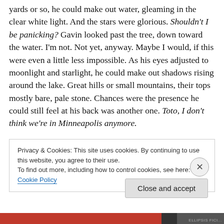yards or so, he could make out water, gleaming in the clear white light. And the stars were glorious. Shouldn't I be panicking? Gavin looked past the tree, down toward the water. I'm not. Not yet, anyway. Maybe I would, if this were even a little less impossible. As his eyes adjusted to moonlight and starlight, he could make out shadows rising around the lake. Great hills or small mountains, their tops mostly bare, pale stone. Chances were the presence he could still feel at his back was another one. Toto, I don't think we're in Minneapolis anymore.
Privacy & Cookies: This site uses cookies. By continuing to use this website, you agree to their use. To find out more, including how to control cookies, see here: Cookie Policy
Close and accept